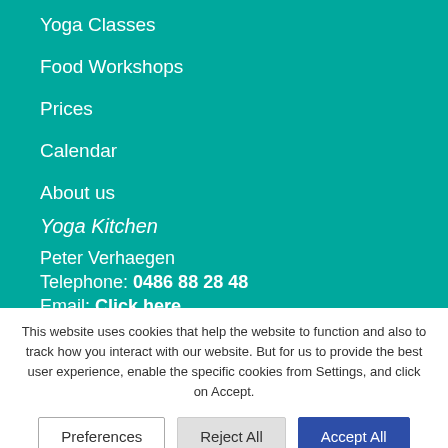Yoga Classes
Food Workshops
Prices
Calendar
About us
Yoga Kitchen
Peter Verhaegen
Telephone: 0486 88 28 48
Email: Click here
This website uses cookies that help the website to function and also to track how you interact with our website. But for us to provide the best user experience, enable the specific cookies from Settings, and click on Accept.